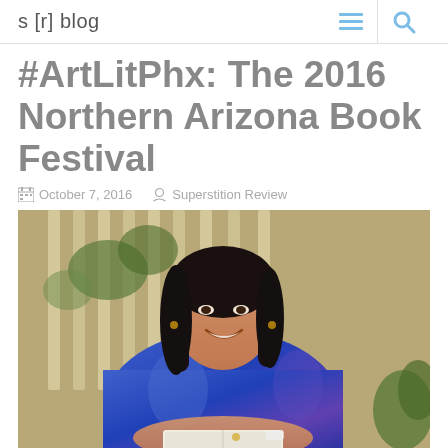s [r] blog
#ArtLitPhx: The 2016 Northern Arizona Book Festival
October 7, 2016   Superstition Review
[Figure (photo): Woman with dark hair wearing a bright blue top, smiling and leaning on a book, seated outdoors near a white lattice fence with greenery in background.]